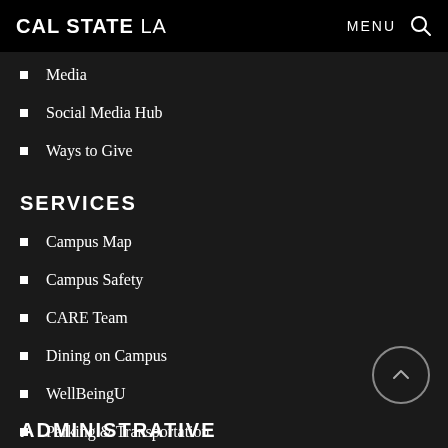CAL STATE LA  MENU 🔍
Media
Social Media Hub
Ways to Give
SERVICES
Campus Map
Campus Safety
CARE Team
Dining on Campus
WellBeingU
Parking & Transportation
Student Health Center
ADMINISTRATIVE